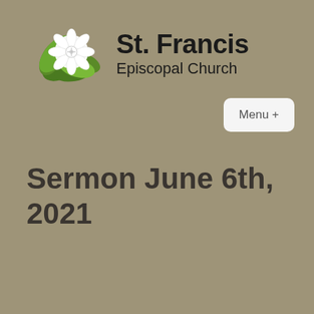[Figure (logo): St. Francis Episcopal Church logo with green leaves and white flower, followed by bold church name text]
Menu +
Sermon June 6th, 2021